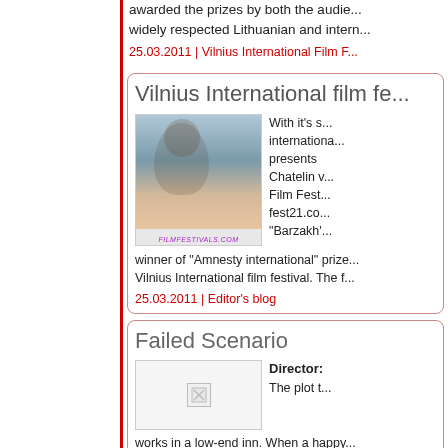awarded the prizes by both the audience and widely respected Lithuanian and intern...
25.03.2011 | Vilnius International Film F...
Vilnius International film fe...
[Figure (photo): Portrait photo of a person outdoors, with FILMFESTIVALS.COM watermark]
With it's s... international... presents Chatelin v... Film Fest... fest21.co... "Barzakh" winner of "Amnesty international" prize... Vilnius International film festival. The f...
25.03.2011 | Editor's blog
Failed Scenario
[Figure (photo): Broken/missing image placeholder]
Director: The plot t... works in a low-end inn. When a happy... table, the inn busser can't resist the te... finds intriguing evidence of crime, but ... criminal himself rushes into the toilet t... dramatic, but is all the way it looks to b... elements.